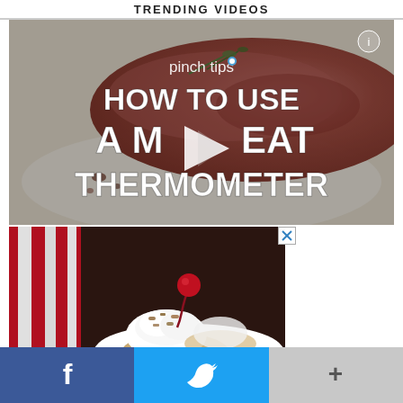TRENDING VIDEOS
[Figure (screenshot): Video thumbnail: 'pinch tips HOW TO USE A MEAT THERMOMETER' overlaid on a photo of a roast/beef with play button in center]
[Figure (photo): Advertisement photo showing a dessert (whipped cream topped with nuts and a cherry) on a white plate with a red striped cloth, with a blue X close button]
[Figure (infographic): Social sharing bar at bottom: Facebook (blue, f icon), Twitter (light blue, bird icon), More/Plus (gray, + icon)]